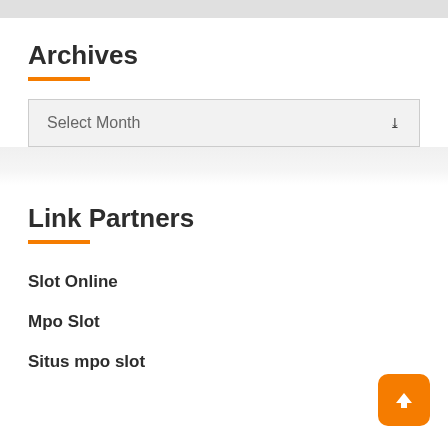Archives
Select Month
Link Partners
Slot Online
Mpo Slot
Situs mpo slot